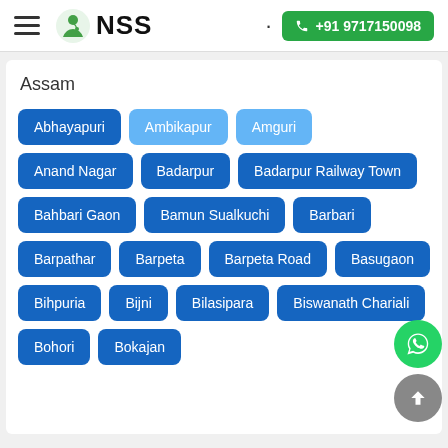NSS | +91 9717150098
Assam
Abhayapuri
Ambikapur
Amguri
Anand Nagar
Badarpur
Badarpur Railway Town
Bahbari Gaon
Bamun Sualkuchi
Barbari
Barpathar
Barpeta
Barpeta Road
Basugaon
Bihpuria
Bijni
Bilasipara
Biswanath Chariali
Bohori
Bokajan